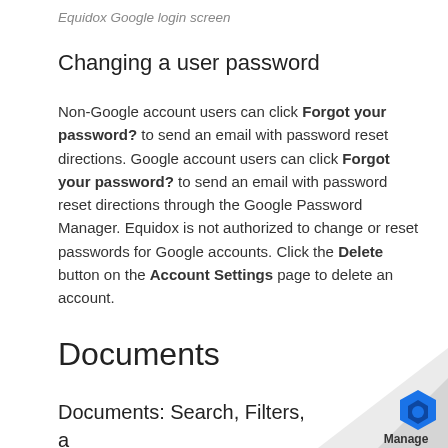Equidox Google login screen
Changing a user password
Non-Google account users can click Forgot your password? to send an email with password reset directions. Google account users can click Forgot your password? to send an email with password reset directions through the Google Password Manager. Equidox is not authorized to change or reset passwords for Google accounts. Click the Delete button on the Account Settings page to delete an account.
Documents
Documents: Search, Filters, and Labels